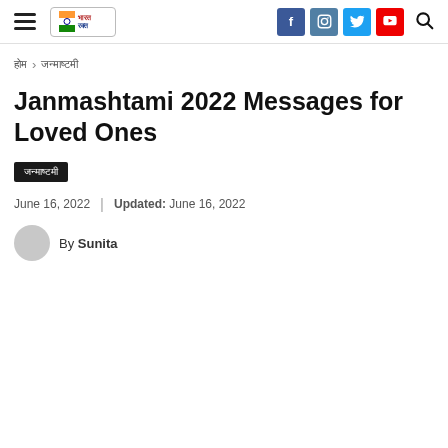≡  [Logo]  f  ig  t  yt  🔍
होम › जन्माष्टमी
Janmashtami 2022 Messages for Loved Ones
जन्माष्टमी
June 16, 2022 | Updated: June 16, 2022
By Sunita